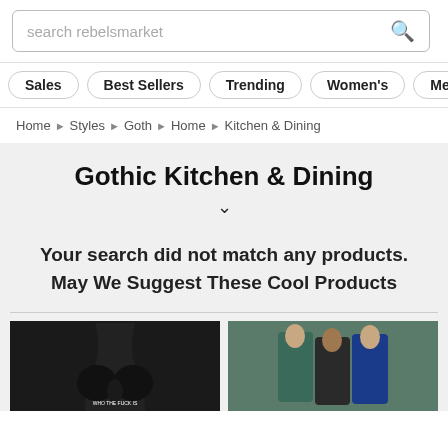search rebelsmarket
Sales | Best Sellers | Trending | Women's | Men's
Home > Styles > Goth > Home > Kitchen & Dining
Gothic Kitchen & Dining
Your search did not match any products.
May We Suggest These Cool Products
[Figure (photo): Two product photos: left shows a black sports bra with text, right shows women modeling teal and blue athletic jackets]
WHO THE FUCK is